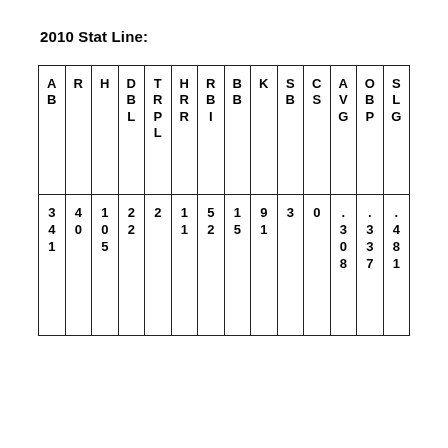2010 Stat Line:
| AB | R | H | DBBL | THRRPL | HRR | RBBI | BBB | K | SB | CBS | CAVG | OBP | SLG |
| --- | --- | --- | --- | --- | --- | --- | --- | --- | --- | --- | --- | --- | --- |
| 341 | 40 | 105 | 22 | 2 | 11 | 52 | 15 | 91 | 3 | 0 | . | . | . |
|  |  |  |  |  |  |  |  |  |  |  | .308 | .337 | .481 |